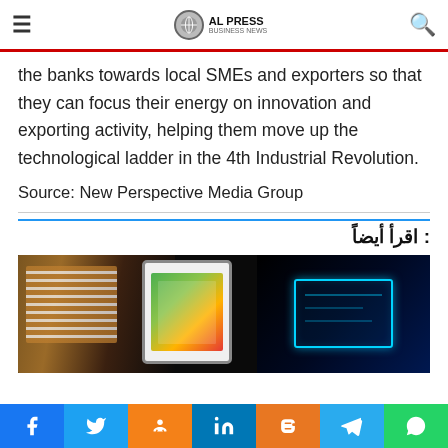≡  AL PRESS  🔍
the banks towards local SMEs and exporters so that they can focus their energy on innovation and exporting activity, helping them move up the technological ladder in the 4th Industrial Revolution.
Source: New Perspective Media Group
اقرأ أيضاً:
[Figure (photo): Dark photo showing a person on the left with a traditional headcovering, a tablet displaying colorful content in the center, and a blue-glowing screen/holographic display on the right]
f  Twitter  OK  in  Blogger  Telegram  WhatsApp